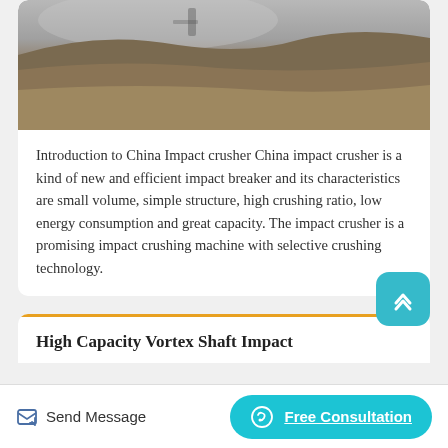[Figure (photo): Partial photo of a quarry or mining site showing gravel/sand pile with rocky/earthy ground in browns and grays]
Introduction to China Impact crusher China impact crusher is a kind of new and efficient impact breaker and its characteristics are small volume, simple structure, high crushing ratio, low energy consumption and great capacity. The impact crusher is a promising impact crushing machine with selective crushing technology.
High Capacity Vortex Shaft Impact
Send Message   Free Consultation